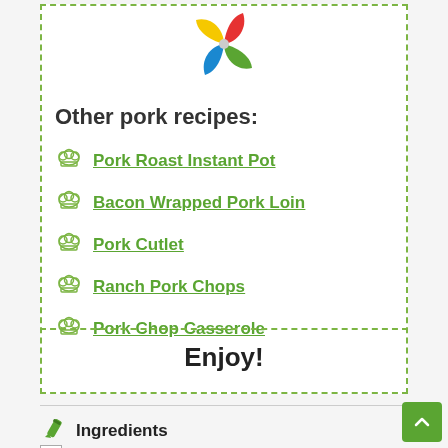[Figure (logo): Colorful pinwheel logo with red, yellow, green, and blue sections]
Other pork recipes:
Pork Roast Instant Pot
Bacon Wrapped Pork Loin
Pork Cutlet
Ranch Pork Chops
Pork Chop Casserole
Enjoy!
Ingredients
2 pork shanks